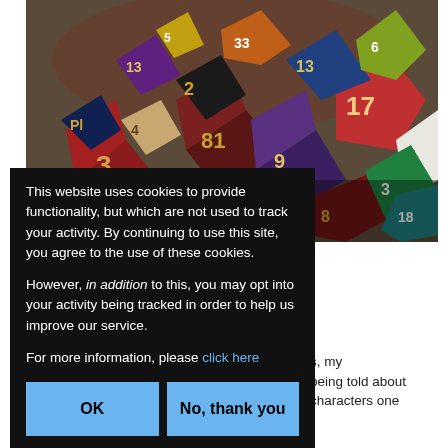[Figure (photo): A large pile of colorful polyhedral gaming dice (d4, d6, d8, d10, d12, d20) in many colors — red, blue, purple, green, yellow, white, black — with numbers visible on their faces.]
This website uses cookies to provide functionality, but which are not used to track your activity. By continuing to use this site, you agree to the use of these cookies.

However, in addition to this, you may opt into your activity being tracked in order to help us improve our service.

For more information, please click here
s, my being told about characters one